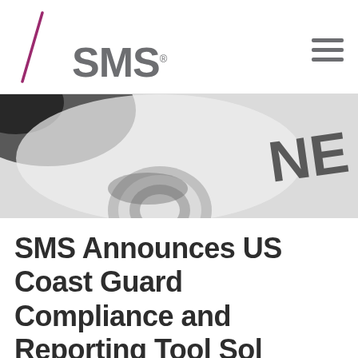SMS®
[Figure (photo): Black and white close-up photo of what appears to be mechanical parts and a partial view of letters 'NE' stamped or printed on a surface]
SMS Announces US Coast Guard Compliance and Reporting Tool Sol